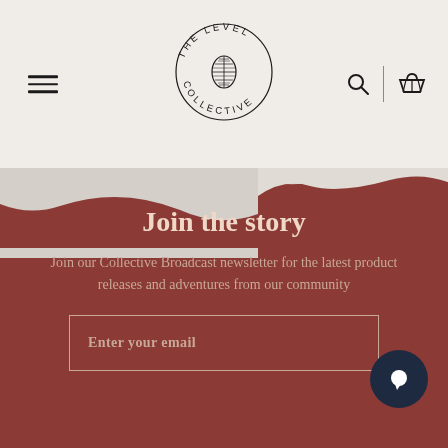[Figure (logo): The Level Collective circular logo with pine cone in center, text around the circle]
Join the story
Join our Collective Broadcast newsletter for the latest product releases and adventures from our community
Enter your email